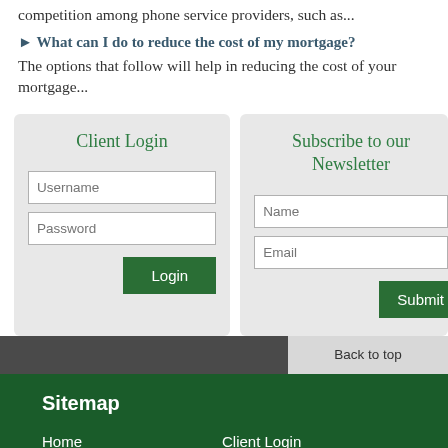competition among phone service providers, such as...
► What can I do to reduce the cost of my mortgage?
The options that follow will help in reducing the cost of your mortgage...
Client Login
Username
Password
Login
Subscribe to our Newsletter
Name
Email
Submit
Back to top
Sitemap
Home
Client Login
About Us
News